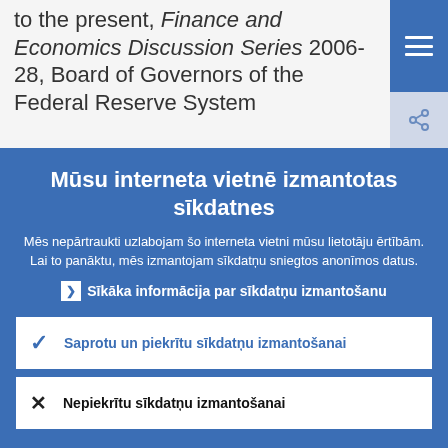to the present, Finance and Economics Discussion Series 2006-28, Board of Governors of the Federal Reserve System
Mūsu interneta vietnē izmantotas sīkdatnes
Mēs nepārtraukti uzlabojam šo interneta vietni mūsu lietotāju ērtībām. Lai to panāktu, mēs izmantojam sīkdatņu sniegtos anonīmos datus.
Sīkāka informācija par sīkdatņu izmantošanu
Saprotu un piekrītu sīkdatņu izmantošanai
Nepiekrītu sīkdatņu izmantošanai